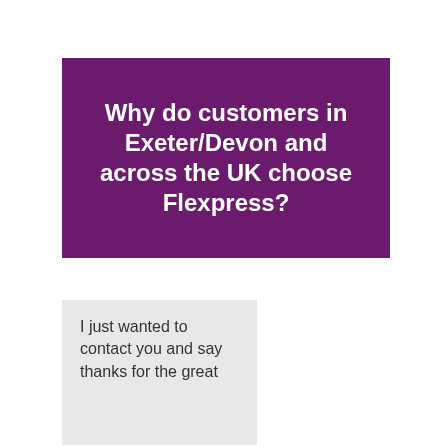Why do customers in Exeter/Devon and across the UK choose Flexpress?
I just wanted to contact you and say thanks for the great